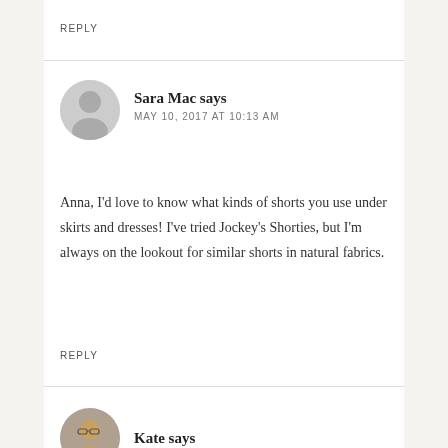REPLY
Sara Mac says
MAY 10, 2017 AT 10:13 AM
Anna, I’d love to know what kinds of shorts you use under skirts and dresses! I’ve tried Jockey’s Shorties, but I’m always on the lookout for similar shorts in natural fabrics.
REPLY
Kate says